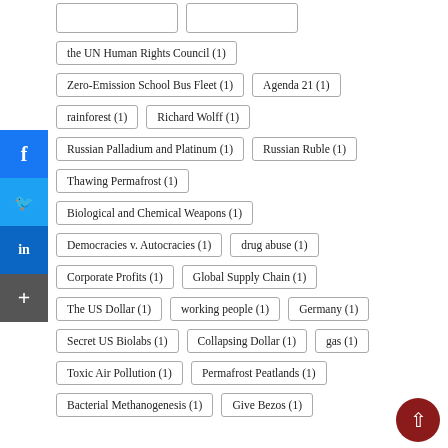the UN Human Rights Council (1)
Zero-Emission School Bus Fleet (1)
Agenda 21 (1)
rainforest (1)
Richard Wolff (1)
Russian Palladium and Platinum (1)
Russian Ruble (1)
Thawing Permafrost (1)
Biological and Chemical Weapons (1)
Democracies v. Autocracies (1)
drug abuse (1)
Corporate Profits (1)
Global Supply Chain (1)
The US Dollar (1)
working people (1)
Germany (1)
Secret US Biolabs (1)
Collapsing Dollar (1)
gas (1)
Toxic Air Pollution (1)
Permafrost Peatlands (1)
Bacterial Methanogenesis (1)
Give Bezos (1)